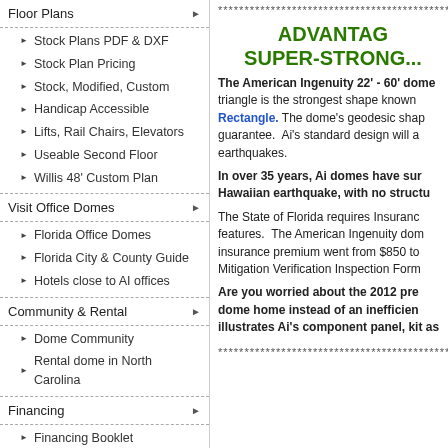Floor Plans
Stock Plans PDF & DXF
Stock Plan Pricing
Stock, Modified, Custom
Handicap Accessible
Lifts, Rail Chairs, Elevators
Useable Second Floor
Willis 48' Custom Plan
Visit Office Domes
Florida Office Domes
Florida City & County Guide
Hotels close to AI offices
Community & Rental
Dome Community
Rental dome in North Carolina
Financing
Financing Booklet
Financing Overview
Lay-a-way
Resale Value
**************************************************************
ADVANTAG
SUPER-STRONG...
The American Ingenuity 22' - 60' dome triangle is the strongest shape known to Rectangle. The dome's geodesic shape guarantee. Ai's standard design will a earthquakes.
In over 35 years, Ai domes have sur Hawaiian earthquake, with no structu
The State of Florida requires Insurance features. The American Ingenuity domes insurance premium went from $850 to Mitigation Verification Inspection Form
Are you worried about the 2012 pre dome home instead of an inefficien illustrates Ai's component panel, kit as
**************************************************************